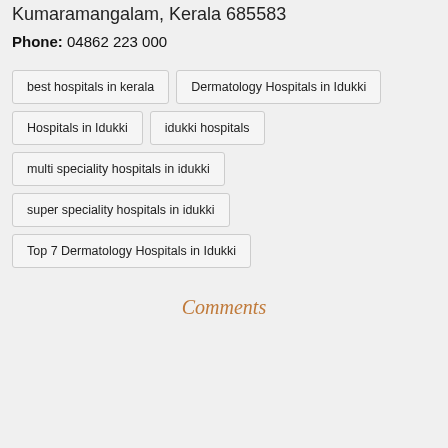Kumaramangalam, Kerala 685583
Phone: 04862 223 000
best hospitals in kerala
Dermatology Hospitals in Idukki
Hospitals in Idukki
idukki hospitals
multi speciality hospitals in idukki
super speciality hospitals in idukki
Top 7 Dermatology Hospitals in Idukki
Comments